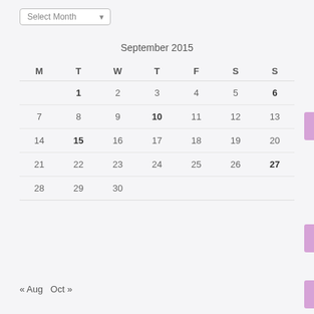[Figure (other): Select Month dropdown widget]
September 2015
| M | T | W | T | F | S | S |
| --- | --- | --- | --- | --- | --- | --- |
|  | 1 | 2 | 3 | 4 | 5 | 6 |
| 7 | 8 | 9 | 10 | 11 | 12 | 13 |
| 14 | 15 | 16 | 17 | 18 | 19 | 20 |
| 21 | 22 | 23 | 24 | 25 | 26 | 27 |
| 28 | 29 | 30 |  |  |  |  |
« Aug  Oct »